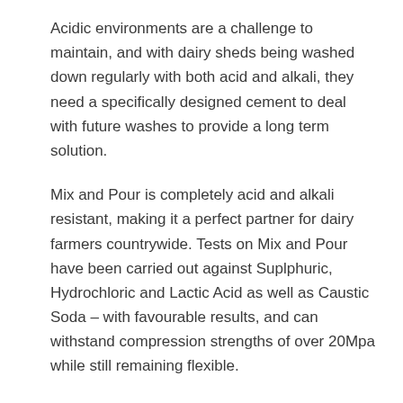Acidic environments are a challenge to maintain, and with dairy sheds being washed down regularly with both acid and alkali, they need a specifically designed cement to deal with future washes to provide a long term solution.
Mix and Pour is completely acid and alkali resistant, making it a perfect partner for dairy farmers countrywide. Tests on Mix and Pour have been carried out against Suplphuric, Hydrochloric and Lactic Acid as well as Caustic Soda – with favourable results, and can withstand compression strengths of over 20Mpa while still remaining flexible.
Haven't the exact info in the TDS that matches the clinical format of the existing brief example.